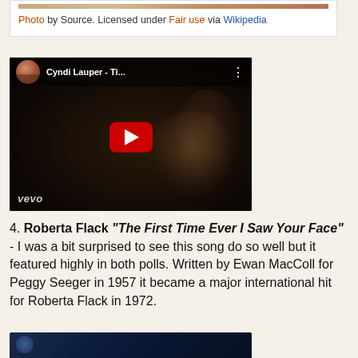Photo by Source. Licensed under Fair use via Wikipedia
[Figure (screenshot): YouTube video embed showing Cyndi Lauper - Ti... with vevo branding, dark video thumbnail with play button]
4. Roberta Flack "The First Time Ever I Saw Your Face" - I was a bit surprised to see this song do so well but it featured highly in both polls. Written by Ewan MacColl for Peggy Seeger in 1957 it became a major international hit for Roberta Flack in 1972.
[Figure (screenshot): Bottom portion of another YouTube video embed, partially visible]